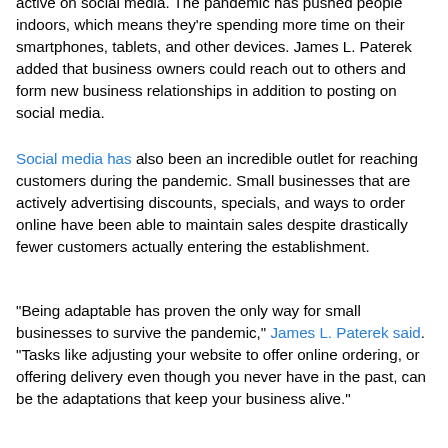active on social media. The pandemic has pushed people indoors, which means they're spending more time on their smartphones, tablets, and other devices. James L. Paterek added that business owners could reach out to others and form new business relationships in addition to posting on social media.
Social media has also been an incredible outlet for reaching customers during the pandemic. Small businesses that are actively advertising discounts, specials, and ways to order online have been able to maintain sales despite drastically fewer customers actually entering the establishment.
"Being adaptable has proven the only way for small businesses to survive the pandemic," James L. Paterek said. "Tasks like adjusting your website to offer online ordering, or offering delivery even though you never have in the past, can be the adaptations that keep your business alive."